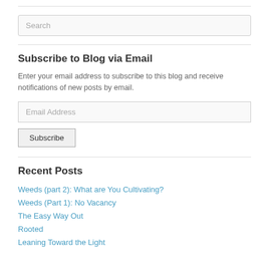[Figure (other): Search input box with placeholder text 'Search']
Subscribe to Blog via Email
Enter your email address to subscribe to this blog and receive notifications of new posts by email.
[Figure (other): Email address input field with placeholder 'Email Address' and Subscribe button]
Recent Posts
Weeds (part 2): What are You Cultivating?
Weeds (Part 1): No Vacancy
The Easy Way Out
Rooted
Leaning Toward the Light